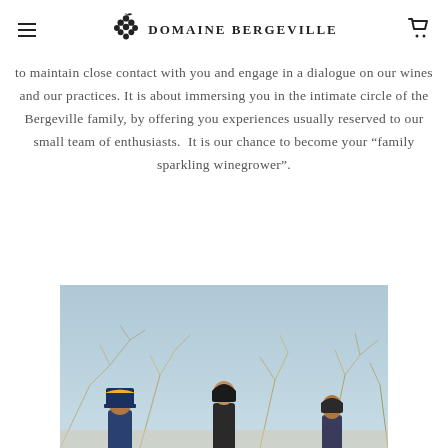Domaine Bergeville
to maintain close contact with you and engage in a dialogue on our wines and our practices. It is about immersing you in the intimate circle of the Bergeville family, by offering you experiences usually reserved to our small team of enthusiasts.  It is our chance to become your “family sparkling winegrower”.
[Figure (photo): Outdoor winter photo of people standing among dormant brush with a light blue sky background]